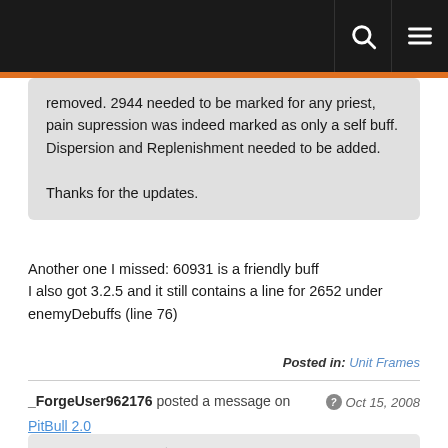removed. 2944 needed to be marked for any priest, pain supression was indeed marked as only a self buff. Dispersion and Replenishment needed to be added.

Thanks for the updates.
Another one I missed: 60931 is a friendly buff
I also got 3.2.5 and it still contains a line for 2652 under enemyDebuffs (line 76)
Posted in: Unit Frames
_ForgeUser962176 posted a message on
Oct 15, 2008
PitBull 2.0
Quote from Shefki
I'll commit a fix for this as soon as the svn server stops